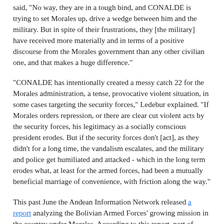said, "No way, they are in a tough bind, and CONALDE is trying to set Morales up, drive a wedge between him and the military. But in spite of their frustrations, they [the military] have received more materially and in terms of a positive discourse from the Morales government than any other civilian one, and that makes a huge difference."
"CONALDE has intentionally created a messy catch 22 for the Morales administration, a tense, provocative violent situation, in some cases targeting the security forces," Ledebur explained. "If Morales orders repression, or there are clear cut violent acts by the security forces, his legitimacy as a socially conscious president erodes. But if the security forces don't [act], as they didn't for a long time, the vandalism escalates, and the military and police get humiliated and attacked - which in the long term erodes what, at least for the armed forces, had been a mutually beneficial marriage of convenience, with friction along the way."
This past June the Andean Information Network released a report analyzing the Bolivian Armed Forces' growing mission in the country under Morales. According to this report, part of